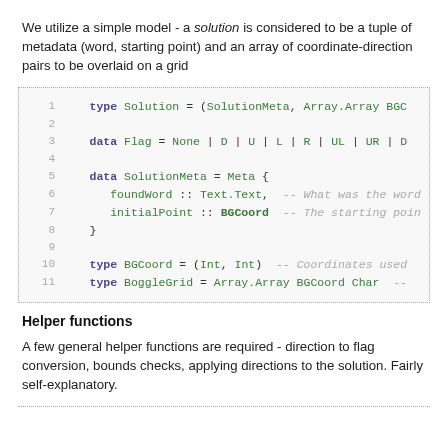We utilize a simple model - a solution is considered to be a tuple of metadata (word, starting point) and an array of coordinate-direction pairs to be overlaid on a grid
[Figure (screenshot): Code block showing Haskell type definitions: Solution, Flag, SolutionMeta, BGCoord, BoggleGrid with line numbers 1-11]
Helper functions
A few general helper functions are required - direction to flag conversion, bounds checks, applying directions to the solution. Fairly self-explanatory.